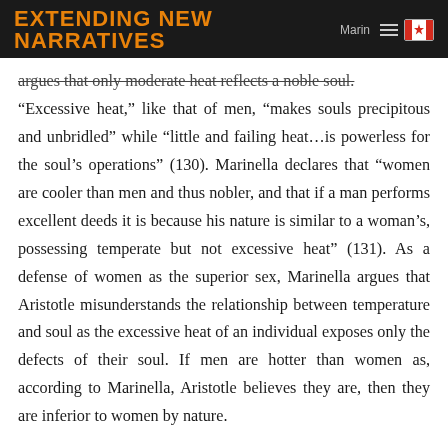EXTENDING NEW NARRATIVES
argues that only moderate heat reflects a noble soul. “Excessive heat,” like that of men, “make souls precipitous and unbridled” while “little and failing heat…is powerless for the soul’s operations” (130). Marinella declares that “women are cooler than men and thus nobler, and that if a man performs excellent deeds it is because his nature is similar to a woman’s, possessing temperate but not excessive heat” (131). As a defense of women as the superior sex, Marinella argues that Aristotle misunderstands the relationship between temperature and soul as the excessive heat of an individual exposes only the defects of their soul. If men are hotter than women as, according to Marinella, Aristotle believes they are, then they are inferior to women by nature.
Not only does Marinella attack Aristotle’s misogyny in